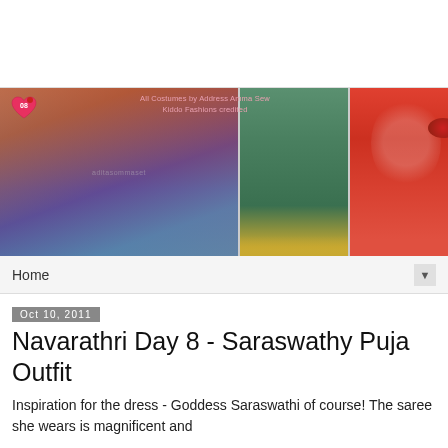[Figure (photo): Blog banner collage showing a young girl in traditional Indian red outfit with hands folded in namaste pose (left), a girl in green frock dress (center-left), a girl in red polka-dot dress spinning (center-right), a red pom-pom accessory (top-right), colorful fabric/bag (middle-right), and floral fabric pieces (bottom-right). Text overlay reads 'All Costumes by Address Amma Sew Kiddo Fashions credited'. A heart logo badge appears top-left.]
Home ▼
Oct 10, 2011
Navarathri Day 8 - Saraswathy Puja Outfit
Inspiration for the dress - Goddess Saraswathi of course! The saree she wears is magnificent and